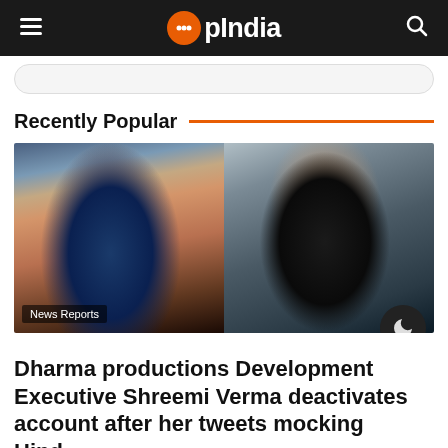OpIndia
Recently Popular
[Figure (photo): Two photos side by side: left shows a young woman with dark hair and hoop earrings; right shows a man with large square glasses wearing a dark turtleneck and blazer. A 'News Reports' badge overlays the bottom left.]
Dharma productions Development Executive Shreemi Verma deactivates account after her tweets mocking Hindus with some asterijks received